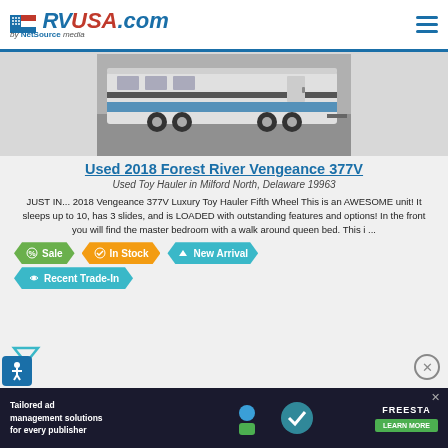RVUSA.com by NetSource media
[Figure (photo): Photo of a used 2018 Forest River Vengeance 377V toy hauler fifth wheel RV parked in a lot]
Used 2018 Forest River Vengeance 377V
Used Toy Hauler in Milford North, Delaware 19963
JUST IN... 2018 Vengeance 377V Luxury Toy Hauler Fifth Wheel This is an AWESOME unit! It sleeps up to 10, has 3 slides, and is LOADED with outstanding features and options! In the front you will find the master bedroom with a walk around queen bed. This i ...
Sale
In Stock
New Arrival
Recent Trade-In
[Figure (screenshot): Advertisement banner: Tailored ad management solutions for every publisher - Freesta (LEARN MORE button)]